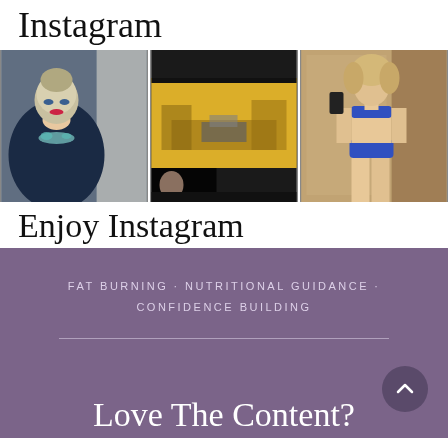Instagram
[Figure (photo): Three Instagram photos in a grid: left is a blonde woman in dark blue outfit with jewelry; center is a video/game screenshot with dark and yellow tones; right is a blonde woman in blue bikini taking a mirror selfie.]
Enjoy Instagram
FAT BURNING · NUTRITIONAL GUIDANCE · CONFIDENCE BUILDING
Love The Content?